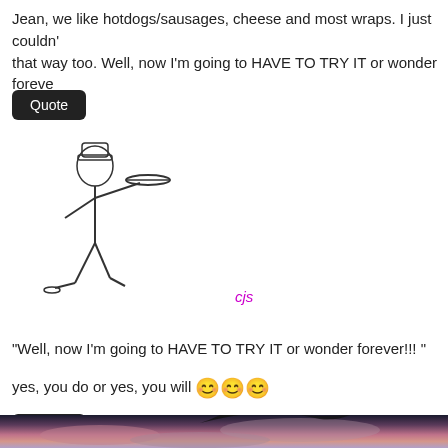Jean, we like hotdogs/sausages, cheese and most wraps. I just couldn't that way too. Well, now I'm going to HAVE TO TRY IT or wonder foreve
Quote
[Figure (illustration): Stick figure drawing of a chef/waiter carrying a tray]
cjs
"Well, now I'm going to HAVE TO TRY IT or wonder forever!!! "
yes, you do or yes, you will 😊😊😊
Quote
[Figure (photo): Sky photo with pink/purple clouds and tree silhouette at top]